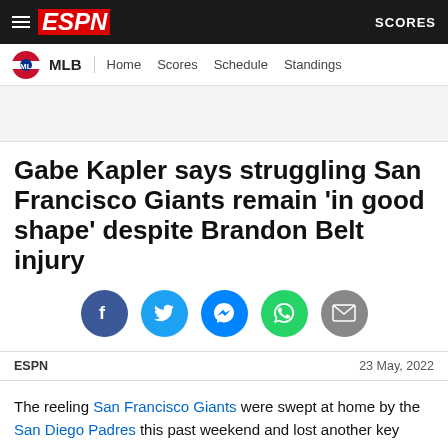ESPN | SCORES
MLB | Home | Scores | Schedule | Standings
Gabe Kapler says struggling San Francisco Giants remain 'in good shape' despite Brandon Belt injury
[Figure (infographic): Social media sharing icons: Facebook, Twitter, Messenger, WhatsApp, Email]
ESPN   23 May, 2022
The reeling San Francisco Giants were swept at home by the San Diego Padres this past weekend and lost another key